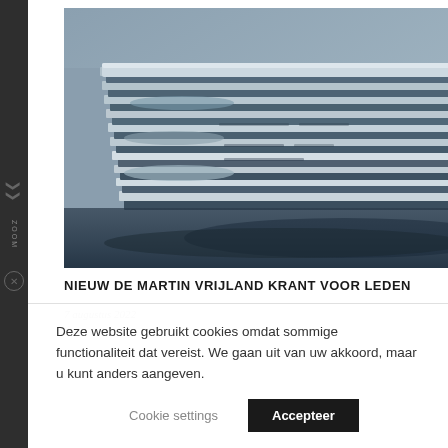[Figure (photo): A stack of newspapers piled on top of each other, photographed in blue-tinted monochrome. The newspapers are folded and stacked in a large pile against a grey background.]
NIEUW DE MARTIN VRIJLAND KRANT VOOR LEDEN
7 augustus 2022
Deze website gebruikt cookies omdat sommige functionaliteit dat vereist. We gaan uit van uw akkoord, maar u kunt anders aangeven.
Cookie settings
Accepteer